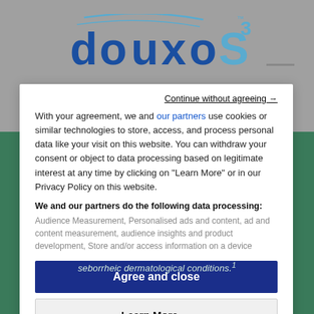[Figure (logo): DOUXOS3 brand logo in blue with superscript 3 and TM mark, on grey background]
Continue without agreeing →
With your agreement, we and our partners use cookies or similar technologies to store, access, and process personal data like your visit on this website. You can withdraw your consent or object to data processing based on legitimate interest at any time by clicking on "Learn More" or in our Privacy Policy on this website.
We and our partners do the following data processing:
Audience Measurement, Personalised ads and content, ad and content measurement, audience insights and product development, Store and/or access information on a device
Agree and close
Learn More →
seborrheic dermatological conditions.¹